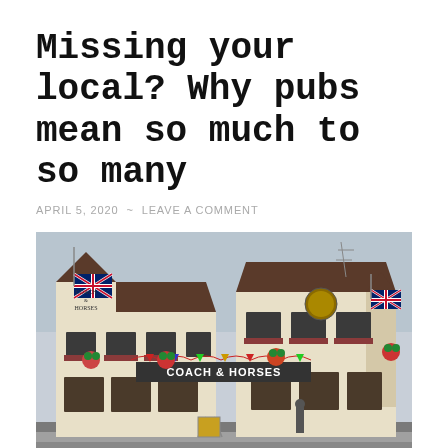Missing your local? Why pubs mean so much to so many
APRIL 5, 2020  ~  LEAVE A COMMENT
[Figure (photo): Photograph of the Coach & Horses pub, a cream/white rendered building with Union Jack flags, hanging flower baskets, and bunting. The pub sign reads 'COACH & HORSES'. A street scene with pavement in the foreground.]
Our Beerhunter points out the way our lives connect up around good times in pubs and people